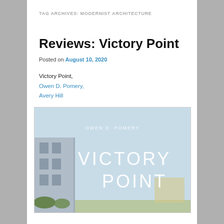TAG ARCHIVES: MODERNIST ARCHITECTURE
Reviews: Victory Point
Posted on August 10, 2020
Victory Point,
Owen D. Pomery,
Avery Hill
[Figure (photo): Book cover of 'Victory Point' by Owen D. Pomery, published by Avery Hill. Light blue sky background with a modernist building on the left and the title 'VICTORY POINT' in large white letters. Author name 'OWEN D. POMERY' appears near the top.]